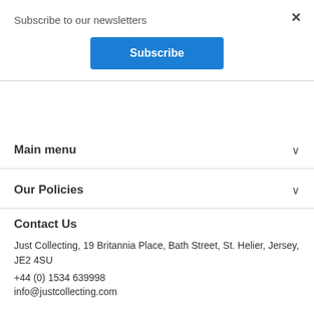Subscribe to our newsletters
Subscribe
×
Main menu
Our Policies
Contact Us
Just Collecting, 19 Britannia Place, Bath Street, St. Helier, Jersey, JE2 4SU
+44 (0) 1534 639998
info@justcollecting.com